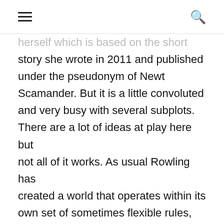≡  🔍
herself which is based on the short story she wrote in 2011 and published under the pseudonym of Newt Scamander. But it is a little convoluted and very busy with several subplots. There are a lot of ideas at play here but not all of it works. As usual Rowling has created a world that operates within its own set of sometimes flexible rules, and she has created a unique language. Fantastic Beasts has a dark and whimsical tone that is far removed from the lighter tone of the early Potter movies.